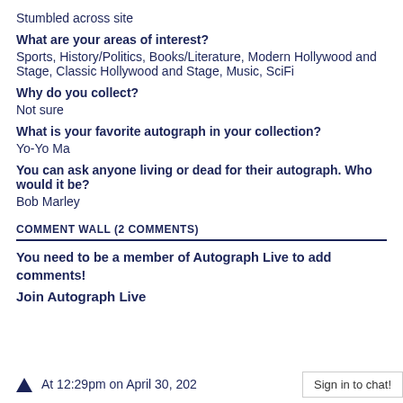Stumbled across site
What are your areas of interest?
Sports, History/Politics, Books/Literature, Modern Hollywood and Stage, Classic Hollywood and Stage, Music, SciFi
Why do you collect?
Not sure
What is your favorite autograph in your collection?
Yo-Yo Ma
You can ask anyone living or dead for their autograph. Who would it be?
Bob Marley
COMMENT WALL (2 COMMENTS)
You need to be a member of Autograph Live to add comments!
Join Autograph Live
At 12:29pm on April 30, 202
Sign in to chat!